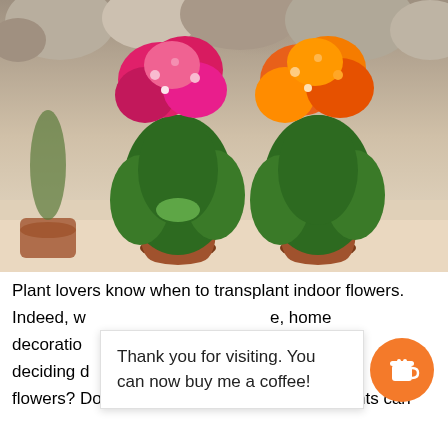[Figure (photo): Two kalanchoe flowering plants in terracotta pots — one with pink/magenta flowers on the left and one with orange flowers on the right — set against a background of smooth rounded stones.]
Plant lovers know when to transplant indoor flowers. Indeed, w[...obscured...]e, home decoratio[...obscured...]ed h[...obscured...]n deciding d[...obscured...]t i[...obscured...] flowers? Do you need a transplant? Some plants can